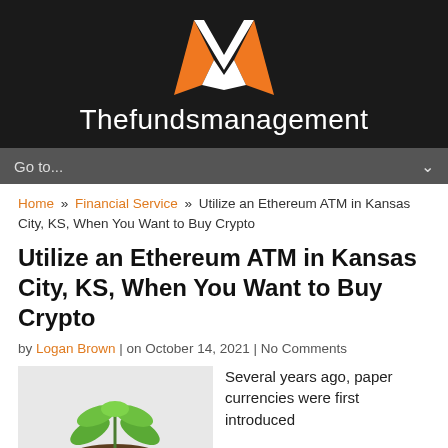[Figure (logo): Thefundsmanagement website logo — black background with orange and white M-shaped icon above the text 'Thefundsmanagement' in white]
Go to...
Home » Financial Service » Utilize an Ethereum ATM in Kansas City, KS, When You Want to Buy Crypto
Utilize an Ethereum ATM in Kansas City, KS, When You Want to Buy Crypto
by Logan Brown | on October 14, 2021 | No Comments
[Figure (photo): Small green seedling plant growing from soil, on a light background]
Several years ago, paper currencies were first introduced